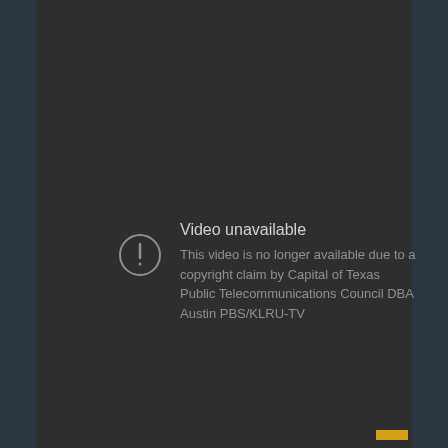[Figure (screenshot): Video unavailable error screen from a video platform. Dark grey background with blue-tinted side strips. A circle with exclamation mark icon on the left, and text 'Video unavailable' as heading followed by 'This video is no longer available due to a copyright claim by Capital of Texas Public Telecommunications Council DBA Austin PBS/KLRU-TV'. A small yellow bar is visible at the bottom right.]